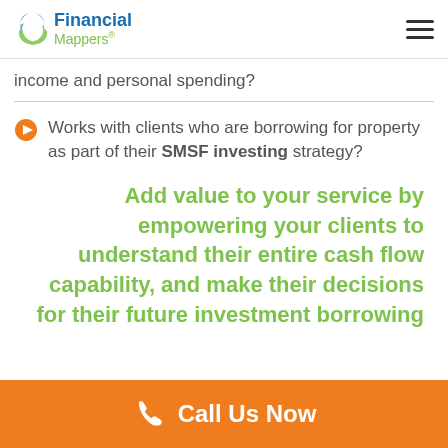Financial Mappers®
income and personal spending?
Works with clients who are borrowing for property as part of their SMSF investing strategy?
Add value to your service by empowering your clients to understand their entire cash flow capability, and make their decisions for their future investment borrowing
Call Us Now